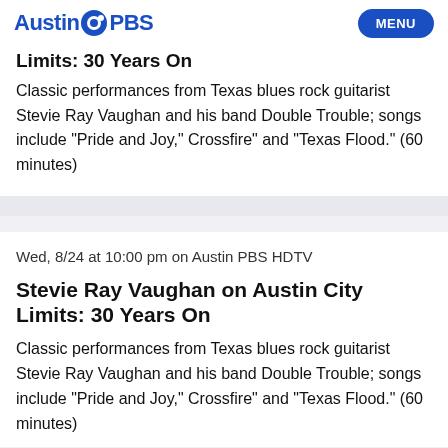Austin PBS MENU
Limits: 30 Years On
Classic performances from Texas blues rock guitarist Stevie Ray Vaughan and his band Double Trouble; songs include "Pride and Joy," Crossfire" and "Texas Flood." (60 minutes)
Wed, 8/24 at 10:00 pm on Austin PBS HDTV
Stevie Ray Vaughan on Austin City Limits: 30 Years On
Classic performances from Texas blues rock guitarist Stevie Ray Vaughan and his band Double Trouble; songs include "Pride and Joy," Crossfire" and "Texas Flood." (60 minutes)